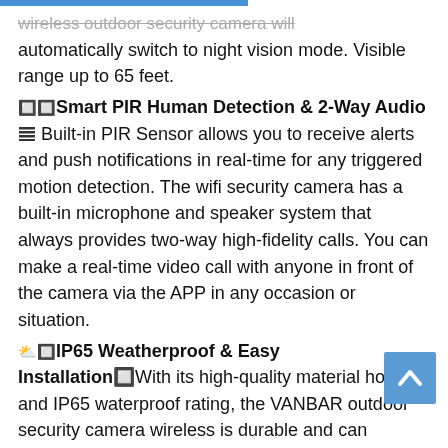wireless outdoor security camera will automatically switch to night vision mode. Visible range up to 65 feet.
🔲🔲Smart PIR Human Detection & 2-Way Audio≡ Built-in PIR Sensor allows you to receive alerts and push notifications in real-time for any triggered motion detection. The wifi security camera has a built-in microphone and speaker system that always provides two-way high-fidelity calls. You can make a real-time video call with anyone in front of the camera via the APP in any occasion or situation.
⛅🔲IP65 Weatherproof & Easy Installation🔲With its high-quality material housing and IP65 waterproof rating, the VANBAR outdoor security camera wireless is durable and can withstand harsh weather such as rain and snow. The device can be easily installed and mounted indoors and outdoors without professional help.
🔲🔲User-Friendly App & Multiple Remote Access🔲Setting up the free app on your iOS/Android device lets you quickly and easily watch, talk, listen, playback, and share your device with your family/friends or anyone that lives away from you.